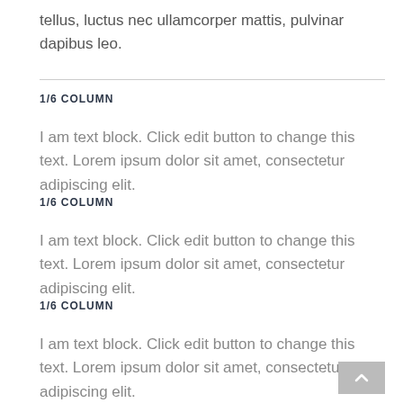tellus, luctus nec ullamcorper mattis, pulvinar dapibus leo.
1/6 COLUMN
I am text block. Click edit button to change this text. Lorem ipsum dolor sit amet, consectetur adipiscing elit.
1/6 COLUMN
I am text block. Click edit button to change this text. Lorem ipsum dolor sit amet, consectetur adipiscing elit.
1/6 COLUMN
I am text block. Click edit button to change this text. Lorem ipsum dolor sit amet, consectetur adipiscing elit.